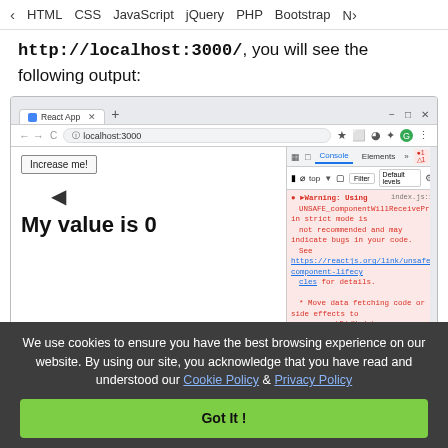HTML   CSS   JavaScript   jQuery   PHP   Bootstrap   N
http://localhost:3000/, you will see the following output:
[Figure (screenshot): Browser screenshot showing a React App page at localhost:3000 with an 'Increase me!' button, a cursor icon, text 'My value is 0' in bold, and Chrome DevTools console panel open showing a red warning about UNSAFE_componentWillReceiveProps in strict mode.]
We use cookies to ensure you have the best browsing experience on our website. By using our site, you acknowledge that you have read and understood our Cookie Policy & Privacy Policy
Got It !